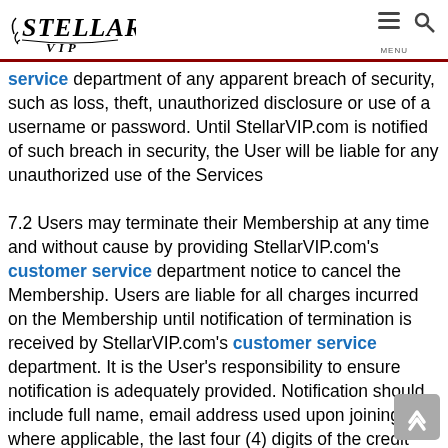Stellar VIP logo and navigation header
service department of any apparent breach of security, such as loss, theft, unauthorized disclosure or use of a username or password. Until StellarVIP.com is notified of such breach in security, the User will be liable for any unauthorized use of the Services
7.2 Users may terminate their Membership at any time and without cause by providing StellarVIP.com's customer service department notice to cancel the Membership. Users are liable for all charges incurred on the Membership until notification of termination is received by StellarVIP.com's customer service department. It is the User's responsibility to ensure notification is adequately provided. Notification should include full name, email address used upon joining and where applicable, the last four (4) digits of the credit card charged.